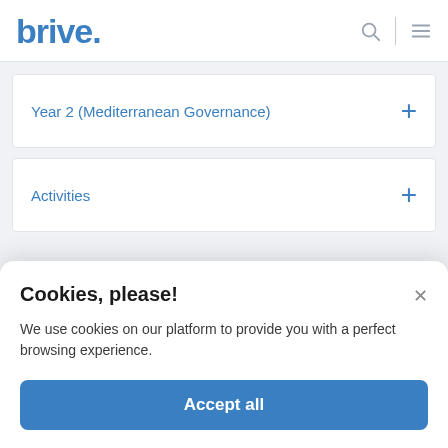[Figure (logo): Brive logo in blue with dot, top left of navigation bar]
Year 2 (Mediterranean Governance)
Activities
Cookies, please!
We use cookies on our platform to provide you with a perfect browsing experience.
Accept all